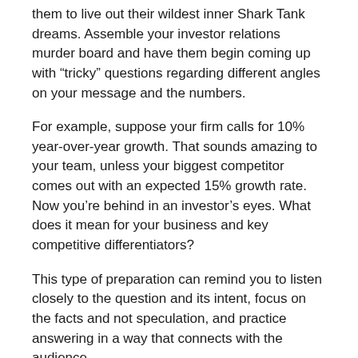them to live out their wildest inner Shark Tank dreams. Assemble your investor relations murder board and have them begin coming up with “tricky” questions regarding different angles on your message and the numbers.
For example, suppose your firm calls for 10% year-over-year growth. That sounds amazing to your team, unless your biggest competitor comes out with an expected 15% growth rate. Now you’re behind in an investor’s eyes. What does it mean for your business and key competitive differentiators?
This type of preparation can remind you to listen closely to the question and its intent, focus on the facts and not speculation, and practice answering in a way that connects with the audience.
There’s no doubt investors are a tough audience. We have found that the best investor presentations happen when CEOs stop focusing on their own